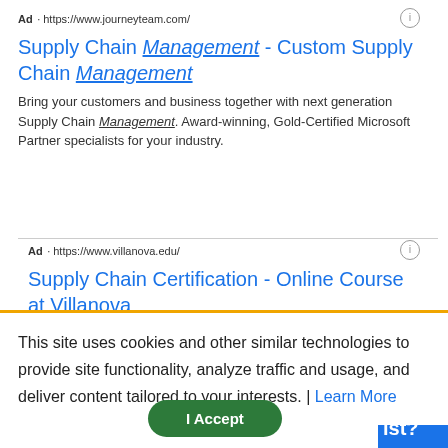Ad · https://www.journeyteam.com/
Supply Chain Management - Custom Supply Chain Management
Bring your customers and business together with next generation Supply Chain Management. Award-winning, Gold-Certified Microsoft Partner specialists for your industry.
Ad · https://www.villanova.edu/
Supply Chain Certification - Online Course at Villanova
This site uses cookies and other similar technologies to provide site functionality, analyze traffic and usage, and deliver content tailored to your interests. | Learn More
I Accept